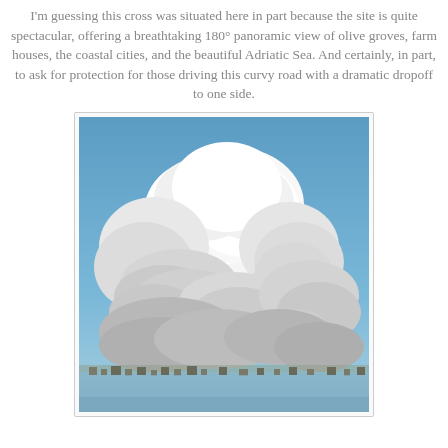I'm guessing this cross was situated here in part because the site is quite spectacular, offering a breathtaking 180° panoramic view of olive groves, farm houses, the coastal cities, and the beautiful Adriatic Sea. And certainly, in part, to ask for protection for those driving this curvy road with a dramatic dropoff to one side.
[Figure (photo): Photograph of a dramatic cumulus cloud formation against a blue sky, with a faint view of a coastal town and water at the bottom of the image.]